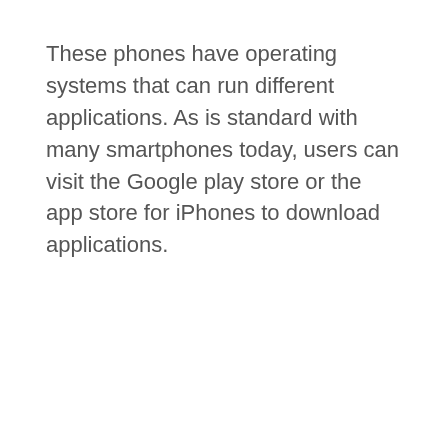These phones have operating systems that can run different applications. As is standard with many smartphones today, users can visit the Google play store or the app store for iPhones to download applications.